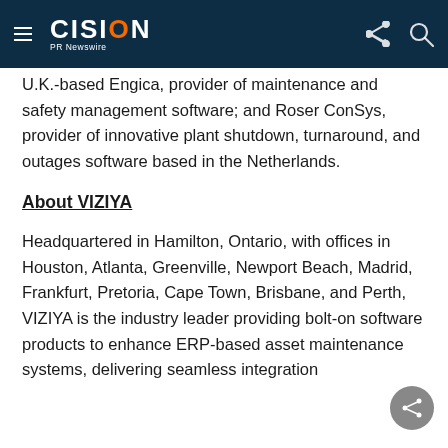CISION PR Newswire
U.K.-based Engica, provider of maintenance and safety management software; and Roser ConSys, provider of innovative plant shutdown, turnaround, and outages software based in the Netherlands.
About VIZIYA
Headquartered in Hamilton, Ontario, with offices in Houston, Atlanta, Greenville, Newport Beach, Madrid, Frankfurt, Pretoria, Cape Town, Brisbane, and Perth, VIZIYA is the industry leader providing bolt-on software products to enhance ERP-based asset maintenance systems, delivering seamless integration